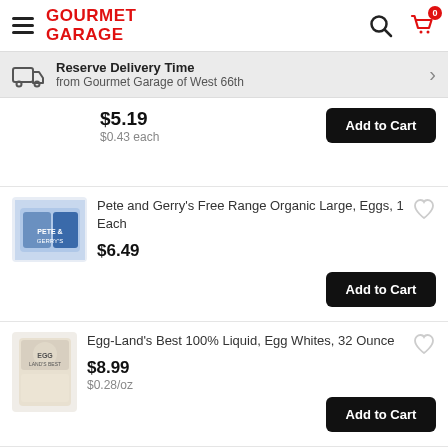GOURMET GARAGE
Reserve Delivery Time from Gourmet Garage of West 66th
$5.19 $0.43 each Add to Cart
Pete and Gerry's Free Range Organic Large, Eggs, 1 Each $6.49 Add to Cart
Egg-Land's Best 100% Liquid, Egg Whites, 32 Ounce $8.99 $0.28/oz Add to Cart